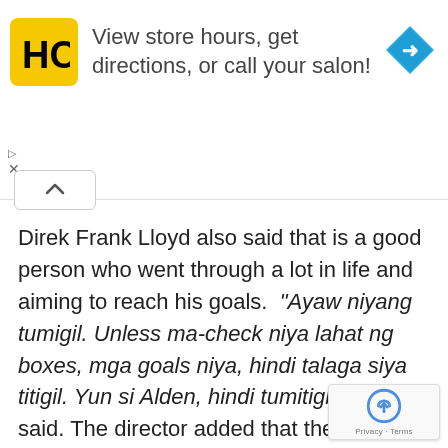[Figure (infographic): Advertisement banner for HC salon with yellow logo, text 'View store hours, get directions, or call your salon!' and a blue navigation diamond icon]
Direk Frank Lloyd also said that is a good person who went through a lot in life and aiming to reach his goals. “Ayaw niyang tumigil. Unless ma-check niya lahat ng boxes, mga goals niya, hindi talaga siya titigil. Yun si Alden, hindi tumitigil!” he said. The director added that there was a positive vibe working with Alden Richards.